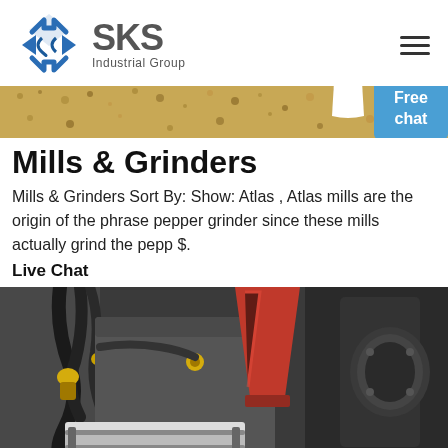[Figure (logo): SKS Industrial Group logo with blue angular diamond/arrow icon and gray text]
[Figure (photo): Industrial machinery parts — gravel/aggregate in the background banner, and machinery with hoses, red cone, gray cylinder in bottom photo]
Mills & Grinders
Mills & Grinders Sort By: Show: Atlas , Atlas mills are the origin of the phrase pepper grinder since these mills actually grind the pepp $.
Live Chat